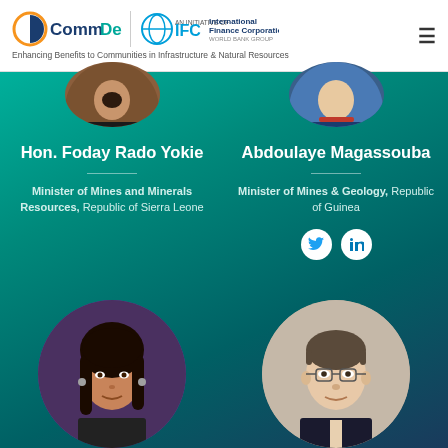CommDev | IFC International Finance Corporation — Enhancing Benefits to Communities in Infrastructure & Natural Resources
[Figure (photo): Two partially cropped circular profile photos of speakers at the top]
Hon. Foday Rado Yokie
Minister of Mines and Minerals Resources, Republic of Sierra Leone
Abdoulaye Magassouba
Minister of Mines & Geology, Republic of Guinea
[Figure (photo): Social media icons: Twitter and LinkedIn for Abdoulaye Magassouba]
[Figure (photo): Two circular profile photos at the bottom — a woman with dark hair on the left, a man with glasses on the right]